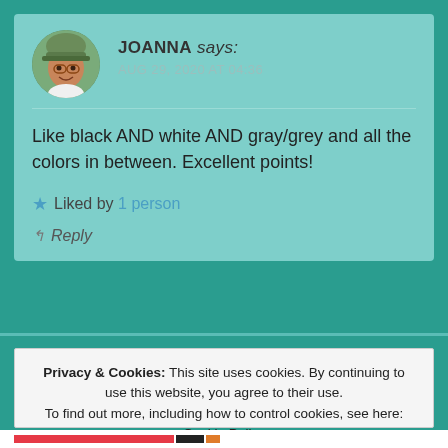JOANNA says: AUG 29, 2020 AT 04:36
Like black AND white AND gray/grey and all the colors in between. Excellent points!
★ Liked by 1 person
↰ Reply
Privacy & Cookies: This site uses cookies. By continuing to use this website, you agree to their use. To find out more, including how to control cookies, see here: Cookie Policy
Close and accept